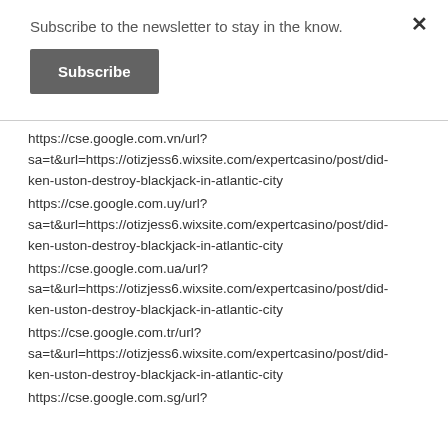Subscribe to the newsletter to stay in the know.
Subscribe
https://cse.google.com.vn/url?
sa=t&url=https://otizjess6.wixsite.com/expertcasino/post/did-ken-uston-destroy-blackjack-in-atlantic-city
https://cse.google.com.uy/url?
sa=t&url=https://otizjess6.wixsite.com/expertcasino/post/did-ken-uston-destroy-blackjack-in-atlantic-city
https://cse.google.com.ua/url?
sa=t&url=https://otizjess6.wixsite.com/expertcasino/post/did-ken-uston-destroy-blackjack-in-atlantic-city
https://cse.google.com.tr/url?
sa=t&url=https://otizjess6.wixsite.com/expertcasino/post/did-ken-uston-destroy-blackjack-in-atlantic-city
https://cse.google.com.sg/url?